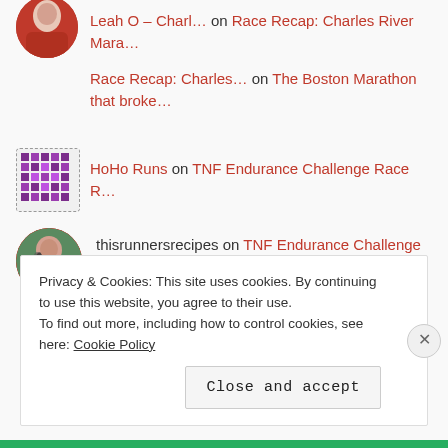[Figure (photo): Circular avatar of a person in a red shirt, partially cropped at top]
Leah O – Charl… on Race Recap: Charles River Mara…
Race Recap: Charles… on The Boston Marathon that broke…
[Figure (photo): Square avatar with dotted border showing a purple/maroon mosaic or grid pattern]
HoHo Runs on TNF Endurance Challenge Race R…
[Figure (photo): Circular avatar of a person wearing sunglasses in a red shirt outdoors]
thisrunnersrecipes on TNF Endurance Challenge Race R…
Privacy & Cookies: This site uses cookies. By continuing to use this website, you agree to their use.
To find out more, including how to control cookies, see here: Cookie Policy
Close and accept